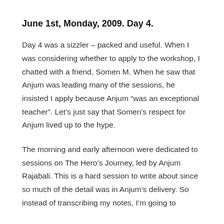June 1st, Monday, 2009. Day 4.
Day 4 was a sizzler – packed and useful. When I was considering whether to apply to the workshop, I chatted with a friend, Somen M. When he saw that Anjum was leading many of the sessions, he insisted I apply because Anjum “was an exceptional teacher”. Let’s just say that Somen’s respect for Anjum lived up to the hype.
The morning and early afternoon were dedicated to sessions on The Hero’s Journey, led by Anjum Rajabali. This is a hard session to write about since so much of the detail was in Anjum’s delivery. So instead of transcribing my notes, I’m going to